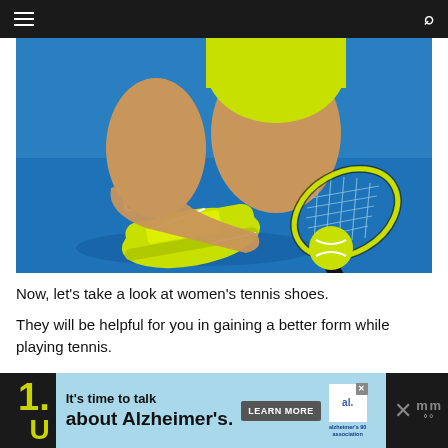Navigation bar with menu and search icons
[Figure (photo): Woman in yellow athletic outfit kneeling on a blue tennis court tying her shoe laces. She wears a smartwatch. A tennis racket and yellow tennis ball are on the court beside her.]
Now, let's take a look at women's tennis shoes.
They will be helpful for you in gaining a better form while playing tennis.
[Figure (infographic): Advertisement banner: dark background on left with yellow number '1.' and letter 'U', teal center with Alzheimer's awareness ad text 'It's time to talk about Alzheimer's.' with LEARN MORE button and Alzheimer's Association logo, close button, and additional icons on right.]